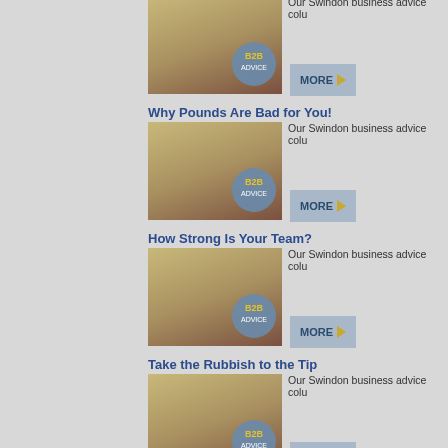Why Pounds Are Bad for You!
Our Swindon business advice colu
How Strong Is Your Team?
Our Swindon business advice colu
Take the Rubbish to the Tip
Our Swindon business advice colu
Keep It Simple
Our Swindon business advice colu